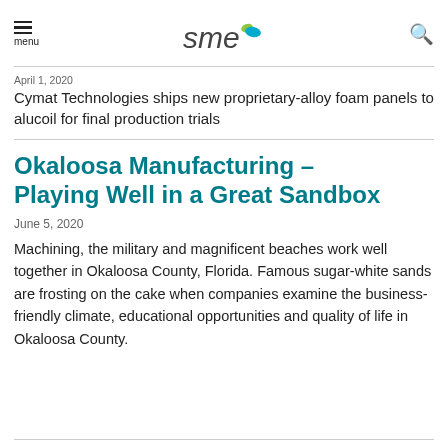SME logo / menu navigation header
April 1, 2020
Cymat Technologies ships new proprietary-alloy foam panels to alucoil for final production trials
Okaloosa Manufacturing – Playing Well in a Great Sandbox
June 5, 2020
Machining, the military and magnificent beaches work well together in Okaloosa County, Florida. Famous sugar-white sands are frosting on the cake when companies examine the business-friendly climate, educational opportunities and quality of life in Okaloosa County.